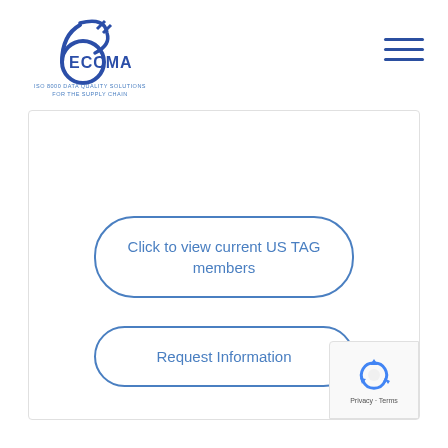[Figure (logo): ECCMA logo with stylized number 6 shape in dark blue and text 'ECCMA' with tagline 'ISO 8000 DATA QUALITY SOLUTIONS FOR THE SUPPLY CHAIN']
[Figure (other): Hamburger menu icon with three horizontal lines]
Click to view current US TAG members
Request Information
[Figure (other): Google reCAPTCHA badge showing recycling arrow logo and text 'Privacy - Terms']